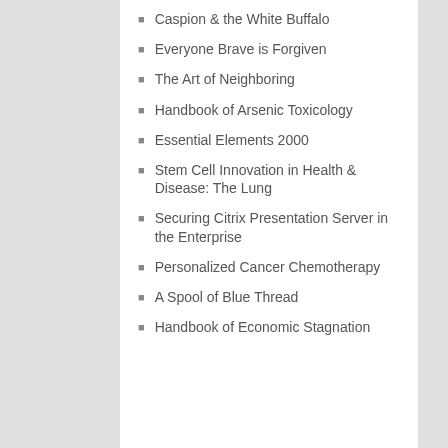Caspion & the White Buffalo
Everyone Brave is Forgiven
The Art of Neighboring
Handbook of Arsenic Toxicology
Essential Elements 2000
Stem Cell Innovation in Health & Disease: The Lung
Securing Citrix Presentation Server in the Enterprise
Personalized Cancer Chemotherapy
A Spool of Blue Thread
Handbook of Economic Stagnation